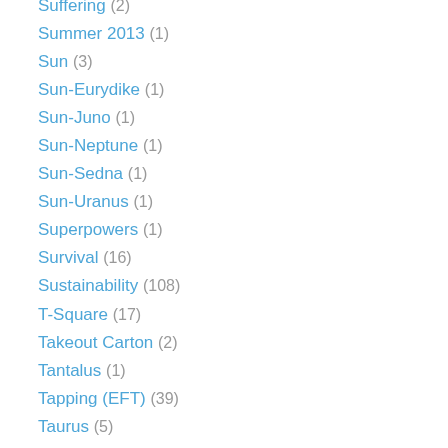Suffering (2)
Summer 2013 (1)
Sun (3)
Sun-Eurydike (1)
Sun-Juno (1)
Sun-Neptune (1)
Sun-Sedna (1)
Sun-Uranus (1)
Superpowers (1)
Survival (16)
Sustainability (108)
T-Square (17)
Takeout Carton (2)
Tantalus (1)
Tapping (EFT) (39)
Taurus (5)
Tenth Harmonic (Decile) (8)
Tenth House (1)
The 1950s (2)
The 1960s (2)